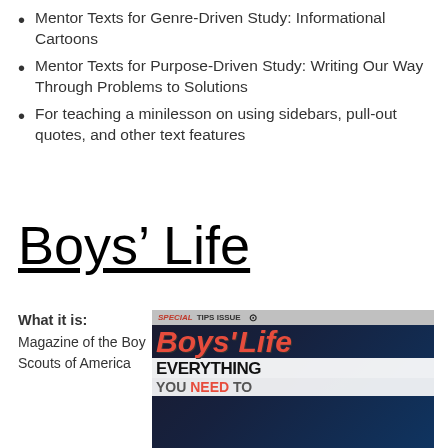Mentor Texts for Genre-Driven Study: Informational Cartoons
Mentor Texts for Purpose-Driven Study: Writing Our Way Through Problems to Solutions
For teaching a minilesson on using sidebars, pull-out quotes, and other text features
Boys’ Life
What it is: Magazine of the Boy Scouts of America
[Figure (photo): Cover of Boys' Life magazine, Special Tips Issue, showing the Boys' Life logo in red italic text, with text reading EVERYTHING YOU NEED TO, gear and equipment in background]